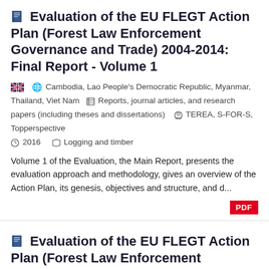Evaluation of the EU FLEGT Action Plan (Forest Law Enforcement Governance and Trade) 2004-2014: Final Report - Volume 1
Cambodia, Lao People's Democratic Republic, Myanmar, Thailand, Viet Nam | Reports, journal articles, and research papers (including theses and dissertations) | TEREA, S-FOR-S, Topperspective | 2016 | Logging and timber
Volume 1 of the Evaluation, the Main Report, presents the evaluation approach and methodology, gives an overview of the Action Plan, its genesis, objectives and structure, and d...
Evaluation of the EU FLEGT Action Plan (Forest Law Enforcement Governance and Trade) 2003-2014: